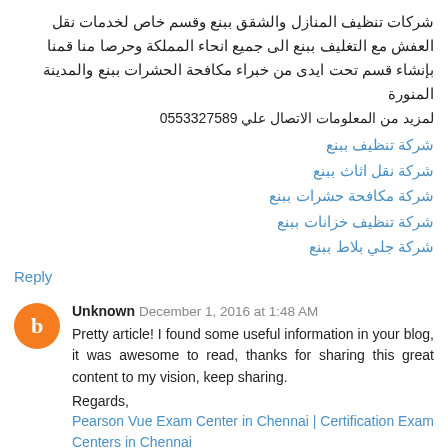شركات تنظيف المنازل والشقق ببنع وقسم خاص لخدمات نقل العفش مع التغليف ببنع الى جميع انحاء المملكة وحرصا منا قمنا بإنشاء قسم تحت ايدى من خبراء مكافحة الحشرات ببنع والمدينة المنورة
لمزيد من المعلومات الاتصال علي 0553327589
شركة تنظيف ببنع
شركة نقل اثاث ببنع
شركة مكافحة حشرات ببنع
شركة تنظيف خزانات ببنع
شركة جلي بلاط ببنع
Reply
Unknown December 1, 2016 at 1:48 AM
Pretty article! I found some useful information in your blog, it was awesome to read, thanks for sharing this great content to my vision, keep sharing.
Regards,
Pearson Vue Exam Center in Chennai | Certification Exam Centers in Chennai